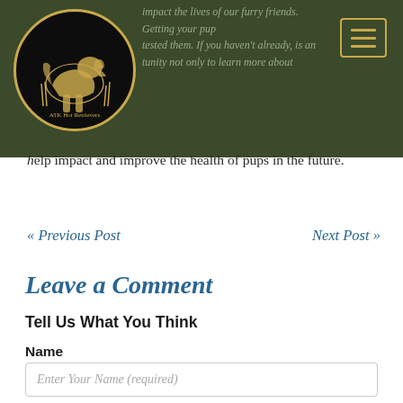ATK Hot Retrievers — navigation bar with logo and hamburger menu
impact the lives of our furry friends. Getting your pup tested them. If you haven't already, is an tunity not only to learn more about help impact and improve the health of pups in the future.
« Previous Post    Next Post »
Leave a Comment
Tell Us What You Think
Name
Enter Your Name (required)
Email